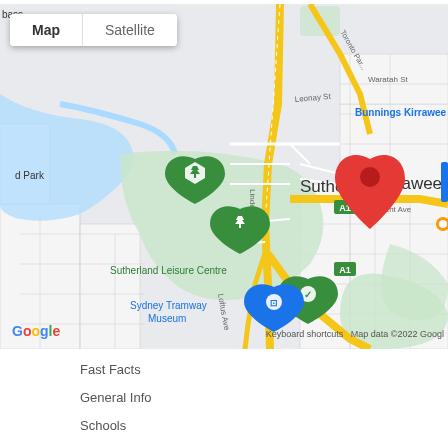[Figure (map): Google Maps view of Sutherland, NSW, Australia showing Sutherland town centre with red location pin, surrounding streets including Linden St, President Ave, Loftus Ave, Toronto Parade. Notable landmarks: Sutherland Leisure Centre, Sydney Tramway Museum, Bunnings Kirrawee, Kirrawee suburb. Blue water feature and green parklands visible. Map/Satellite toggle buttons at top left. Google logo bottom left. Map data ©2022 Google credit bottom right.]
Fast Facts
General Info
Schools